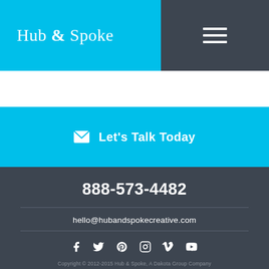[Figure (logo): Hub & Spoke logo in white serif font on cyan/blue background]
[Figure (other): Hamburger menu icon (three horizontal white lines) on dark background]
✉ Let's Talk Today
888-573-4482
hello@hubandspokecreative.com
[Figure (other): Social media icons: Facebook, Twitter, Google+, Instagram, Vimeo, YouTube]
Copyright © 2012-2015 Hub & Spoke, A Dakota Group Company